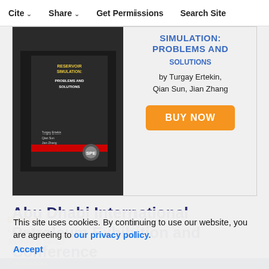Cite  Share  Get Permissions  Search Site
[Figure (illustration): Book cover advertisement for 'Reservoir Simulation: Problems and Solutions' by Turgay Ertekin, Qian Sun, Jian Zhang, with a BUY NOW button]
Abu Dhabi International Petroleum Exhibition and Conference
This site uses cookies. By continuing to use our website, you are agreeing to our privacy policy. Accept